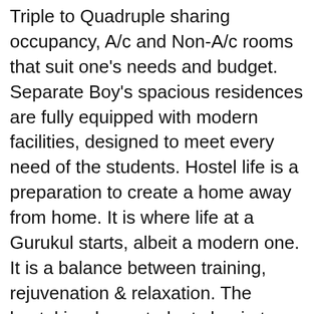Triple to Quadruple sharing occupancy, A/c and Non-A/c rooms that suit one's needs and budget. Separate Boy's spacious residences are fully equipped with modern facilities, designed to meet every need of the students. Hostel life is a preparation to create a home away from home. It is where life at a Gurukul starts, albeit a modern one. It is a balance between training, rejuvenation & relaxation. The hostel is where students begin to have a sense of belongingness and camaraderie. It's where the loneliness of life can best be dealt with and the hostel makes one realize that true independence is the fountainhead to experiencing love and togetherness in life. On one hand, they begin to experience confidence and freedom to make their own choices and on the other hand, they begin to realize that they have an inherent ability to bring together a family away from family and inspire support in their lives.